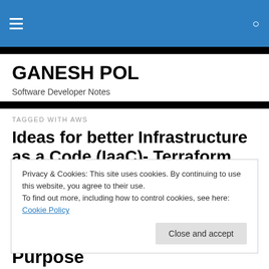GANESH POL — Software Developer Notes (navigation bar)
GANESH POL
Software Developer Notes
TAGGED WITH AWS
Ideas for better Infrastructure as a Code (IaaC)- Terraform
Privacy & Cookies: This site uses cookies. By continuing to use this website, you agree to their use.
To find out more, including how to control cookies, see here: Cookie Policy
Close and accept
Purpose